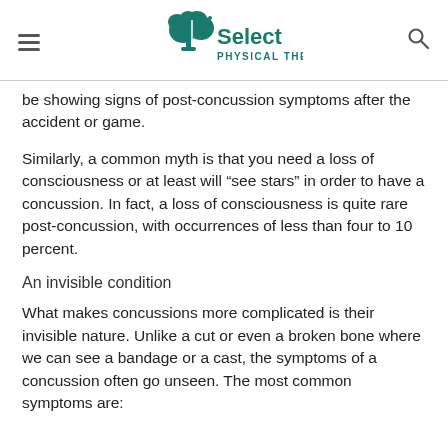Select Physical Therapy
be showing signs of post-concussion symptoms after the accident or game.
Similarly, a common myth is that you need a loss of consciousness or at least will “see stars” in order to have a concussion. In fact, a loss of consciousness is quite rare post-concussion, with occurrences of less than four to 10 percent.
An invisible condition
What makes concussions more complicated is their invisible nature. Unlike a cut or even a broken bone where we can see a bandage or a cast, the symptoms of a concussion often go unseen. The most common symptoms are: